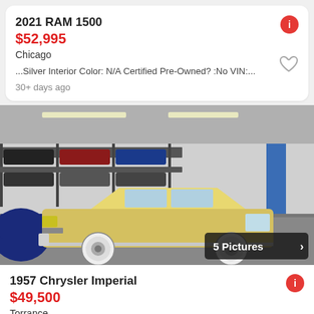2021 RAM 1500
$52,995
Chicago
...Silver Interior Color: N/A Certified Pre-Owned? :No VIN:...
30+ days ago
[Figure (photo): Yellow 1957 Chrysler Imperial classic car parked inside a garage with multi-level car storage racks in the background. A badge reads '5 Pictures >']
1957 Chrysler Imperial
$49,500
Torrance